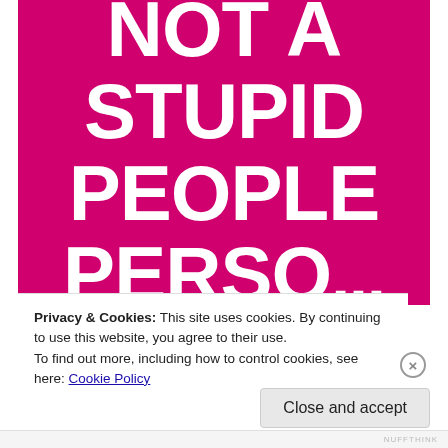[Figure (illustration): Hot pink/magenta background with large white bold text reading 'NOT A STUPID PEOPLE PERSON' (partially cropped at bottom showing 'PERSO...')]
Privacy & Cookies: This site uses cookies. By continuing to use this website, you agree to their use.
To find out more, including how to control cookies, see here: Cookie Policy
Close and accept